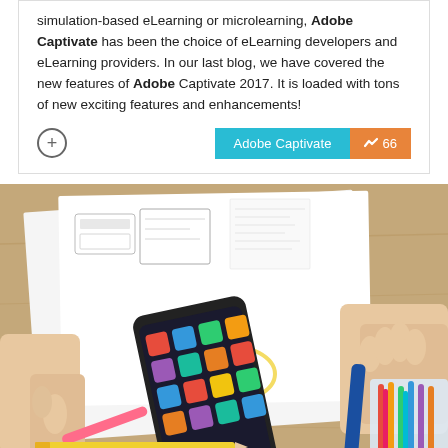simulation-based eLearning or microlearning, Adobe Captivate has been the choice of eLearning developers and eLearning providers. In our last blog, we have covered the new features of Adobe Captivate 2017. It is loaded with tons of new exciting features and enhancements!
[Figure (photo): A person's hands working at a desk with papers showing wireframe/UX design sketches, a smartphone with apps visible on screen, colorful markers, a pink highlighter, a pencil, and a container of colorful pens on a wooden table surface.]